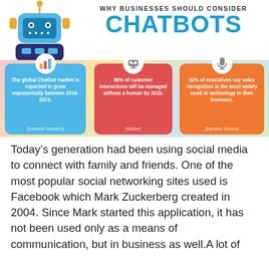[Figure (infographic): Infographic titled 'Why Businesses Should Consider Chatbots' with a robot icon on the left and three colored stat cards: blue card (The global Chatbot market is expected to grow exponentially between 2016-2023. [Credence Research]), red card (85% of customer interactions will be managed without a human by 2020. [Gartner]), orange card (32% of executives say voice recognition is the most widely used AI technology in their business. [Narrative Science]).]
Today's generation had been using social media to connect with family and friends. One of the most popular social networking sites used is Facebook which Mark Zuckerberg created in 2004. Since Mark started this application, it has not been used only as a means of communication, but in business as well.A lot of